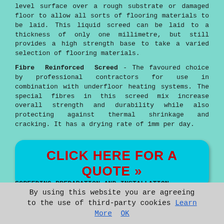level surface over a rough substrate or damaged floor to allow all sorts of flooring materials to be laid. This liquid screed can be laid to a thickness of only one millimetre, but still provides a high strength base to take a varied selection of flooring materials.
Fibre Reinforced Screed - The favoured choice by professional contractors for use in combination with underfloor heating systems. The special fibres in this screed mix increase overall strength and durability while also protecting against thermal shrinkage and cracking. It has a drying rate of 1mm per day.
[Figure (other): Cyan rounded rectangle button with bold red text: CLICK HERE FOR A QUOTE >>]
SCREEDING PREPARATION AND INSTALLATION
To make sure that the screeding is of a good quality finish that is hard wearing and durable, time should be spent on preparing the area before any screed is poured. It's vital that any contaminants such as loose debris, grease, oil or paint is eliminated from the floor surface before laying
By using this website you are agreeing to the use of third-party cookies Learn More OK